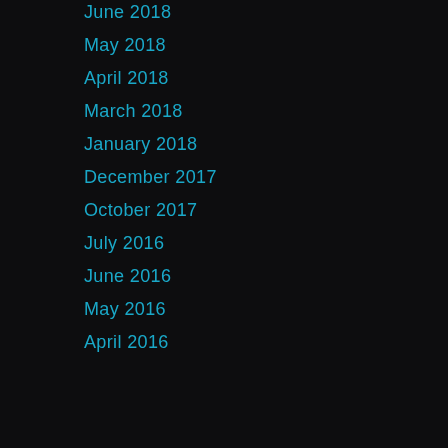June 2018
May 2018
April 2018
March 2018
January 2018
December 2017
October 2017
July 2016
June 2016
May 2016
April 2016